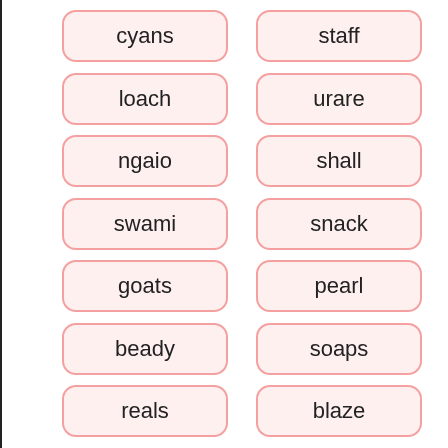cyans
staff
loach
urare
ngaio
shall
swami
snack
goats
pearl
beady
soaps
reals
blaze